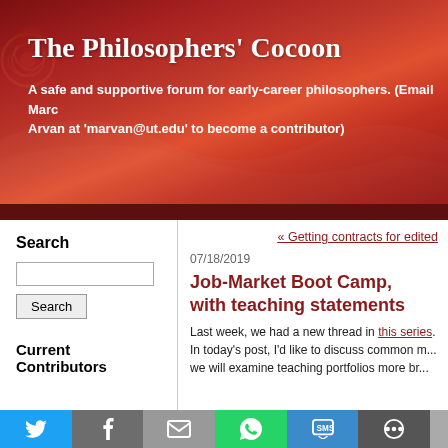The Philosophers' Cocoon
A safe and supportive forum for early-career philosophers. (Email Marc Arvan at 'marvan@ut.edu' to become a contributor)
Search
Search button and input field
Current Contributors
« Getting contracts for edited
07/18/2019
Job-Market Boot Camp, with teaching statements
Last week, we had a new thread in this series. In today's post, I'd like to discuss common m... we will examine teaching portfolios more br...